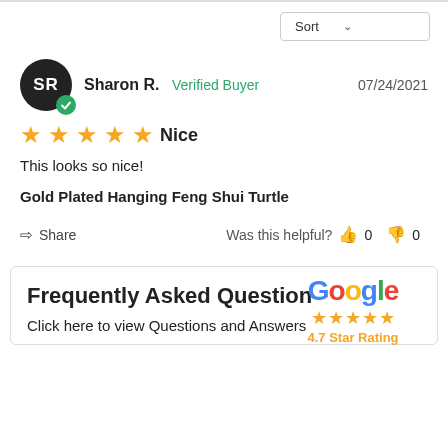Sort
Sharon R.  Verified Buyer  07/24/2021
★★★★★  Nice
This looks so nice!
Gold Plated Hanging Feng Shui Turtle
Share   Was this helpful?  👍 0  👎 0
Frequently Asked Question
Click here to view Questions and Answers
[Figure (logo): Google logo with 4.7 Star Rating badge]